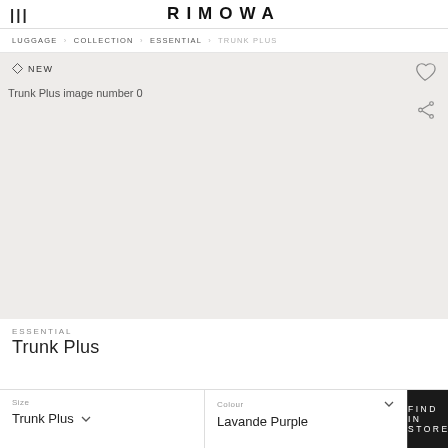RIMOWA
LUGGAGE · COLLECTION · ESSENTIAL · TRUNK PLUS
[Figure (screenshot): Product image placeholder for RIMOWA Essential Trunk Plus with NEW badge and wishlist/share icons on light beige background]
ESSENTIAL
Trunk Plus
Size: Trunk Plus | Colour: Lavande Purple | FIND IN STORE